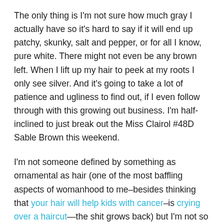The only thing is I'm not sure how much gray I actually have so it's hard to say if it will end up patchy, skunky, salt and pepper, or for all I know, pure white. There might not even be any brown left. When I lift up my hair to peek at my roots I only see silver. And it's going to take a lot of patience and ugliness to find out, if I even follow through with this growing out business. I'm half-inclined to just break out the Miss Clairol #48D Sable Brown this weekend.
I'm not someone defined by something as ornamental as hair (one of the most baffling aspects of womanhood to me–besides thinking that your hair will help kids with cancer–is crying over a haircut—the shit grows back) but I'm not so vanity-free that I want to be perceived as older (I've generally enjoyed being mistaken as younger than my age, probably just because I'm immature). I would hate to be lumped in with